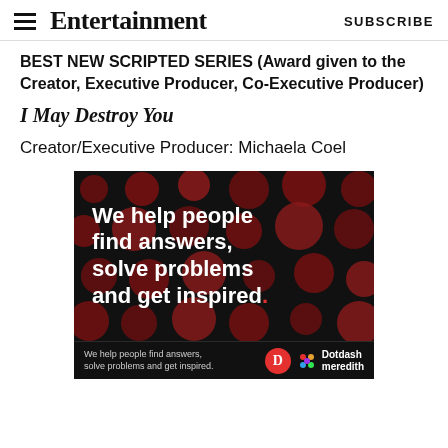Entertainment Weekly — SUBSCRIBE
BEST NEW SCRIPTED SERIES (Award given to the Creator, Executive Producer, Co-Executive Producer)
I May Destroy You
Creator/Executive Producer: Michaela Coel
[Figure (infographic): Advertisement banner with black background and dark red polka dots reading 'We help people find answers, solve problems and get inspired.' with a red period. Below is a footer bar with the same tagline in small text plus the Dotdash Meredith logo.]